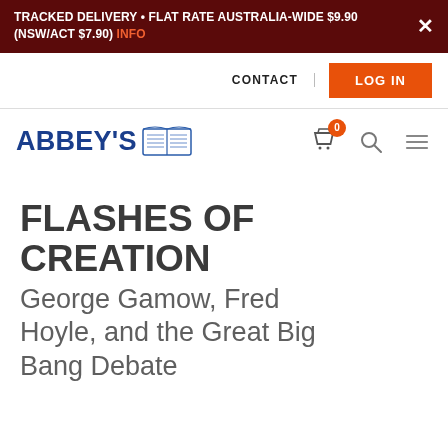TRACKED DELIVERY • FLAT RATE AUSTRALIA-WIDE $9.90 (NSW/ACT $7.90) INFO
[Figure (logo): Abbey's Bookshop logo with open book icon and navigation icons including cart (0), search, and menu]
FLASHES OF CREATION
George Gamow, Fred Hoyle, and the Great Big Bang Debate